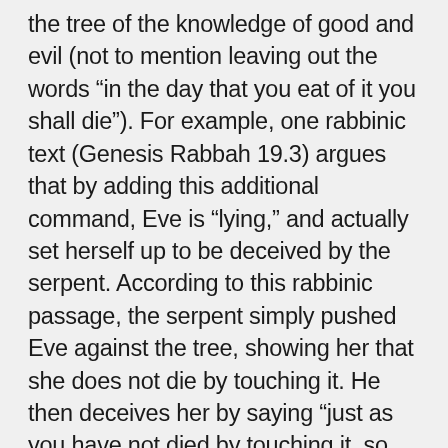the tree of the knowledge of good and evil (not to mention leaving out the words “in the day that you eat of it you shall die”). For example, one rabbinic text (Genesis Rabbah 19.3) argues that by adding this additional command, Eve is “lying,” and actually set herself up to be deceived by the serpent. According to this rabbinic passage, the serpent simply pushed Eve against the tree, showing her that she does not die by touching it. He then deceives her by saying “just as you have not died by touching it, so you will not die by eating it.” Again, presumed in this passage is the idea that, since Adam heard the